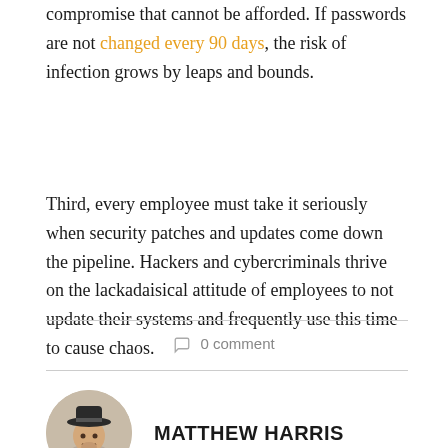compromise that cannot be afforded. If passwords are not changed every 90 days, the risk of infection grows by leaps and bounds.
Third, every employee must take it seriously when security patches and updates come down the pipeline. Hackers and cybercriminals thrive on the lackadaisical attitude of employees to not update their systems and frequently use this time to cause chaos.
0 comment
MATTHEW HARRIS